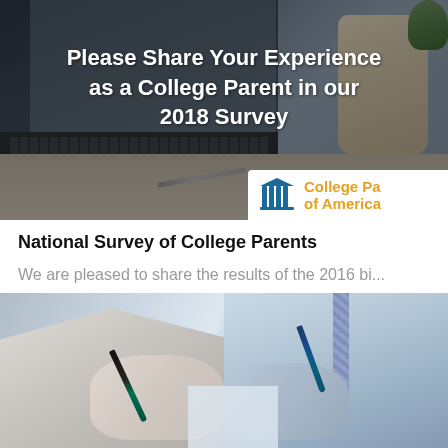[Figure (photo): Banner image of a laptop on a desk with a coffee mug, overlaid with white bold text. A College Parents of America logo appears in the bottom right corner of the banner.]
National Survey of College Parents
We are pleased to share the results of the 2016 bi...
[Figure (photo): Two people sitting across from each other at a table, each holding a pen and writing or signing documents.]